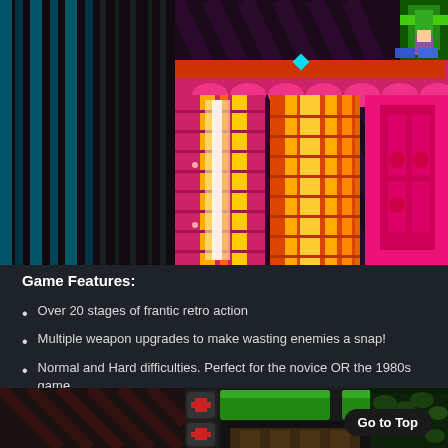[Figure (screenshot): Retro-style video game screenshot showing colorful platform/action game level with pink, red, gold and teal colors, and a character sprite visible in the upper right.]
Game Features:
Over 20 stages of frantic retro action
Multiple weapon upgrades to make wasting enemies a snap!
Normal and Hard difficulties. Perfect for the novice OR the 1980s game
Auto-save feature lets you pick up where you left off!
Three new stages coming in December 2017: Crackman's Gauntlet!
[Figure (screenshot): Bottom screenshot showing game level with green platforms, health pickup icons (white cross on dark square), and dark foliage/grass area on the right.]
Go to Top